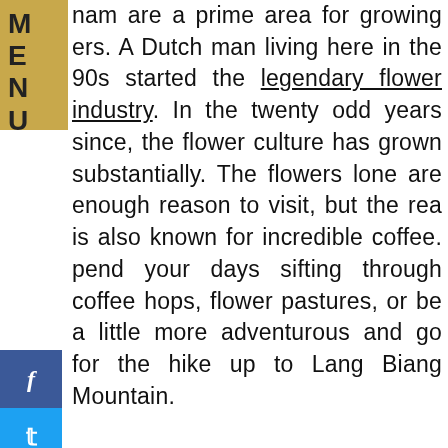nam are a prime area for growing ers. A Dutch man living here in the 90s started the legendary flower industry. In the twenty odd years since, the flower culture has grown substantially. The flowers lone are enough reason to visit, but the rea is also known for incredible coffee. pend your days sifting through coffee hops, flower pastures, or be a little more adventurous and go for the hike up to Lang Biang Mountain.